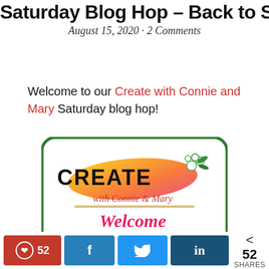Saturday Blog Hop – Back to School
August 15, 2020 · 2 Comments
Welcome to our Create with Connie and Mary Saturday blog hop!
[Figure (logo): Create with Connie & Mary Welcome Saturday Blog Hop logo inside a green rounded rectangle border]
52 shares: Pinterest 52, Facebook share, Twitter share, LinkedIn share